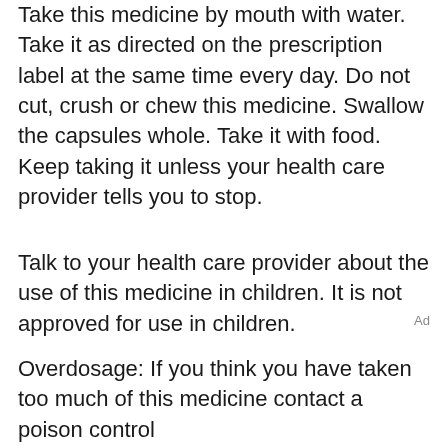Take this medicine by mouth with water. Take it as directed on the prescription label at the same time every day. Do not cut, crush or chew this medicine. Swallow the capsules whole. Take it with food. Keep taking it unless your health care provider tells you to stop.
Talk to your health care provider about the use of this medicine in children. It is not approved for use in children.
Overdosage: If you think you have taken too much of this medicine contact a poison control
Ad